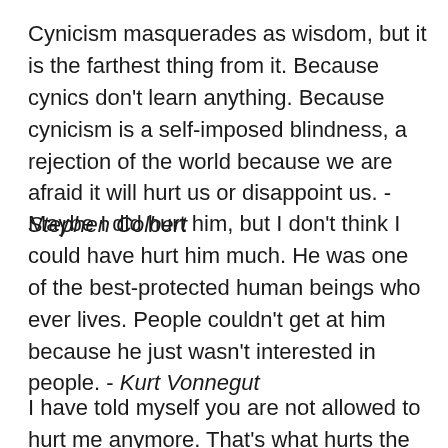Cynicism masquerades as wisdom, but it is the farthest thing from it. Because cynics don't learn anything. Because cynicism is a self-imposed blindness, a rejection of the world because we are afraid it will hurt us or disappoint us. - Stephen Colbert
Maybe I did hurt him, but I don't think I could have hurt him much. He was one of the best-protected human beings who ever lives. People couldn't get at him because he just wasn't interested in people. - Kurt Vonnegut
I have told myself you are not allowed to hurt me anymore. That's what hurts the